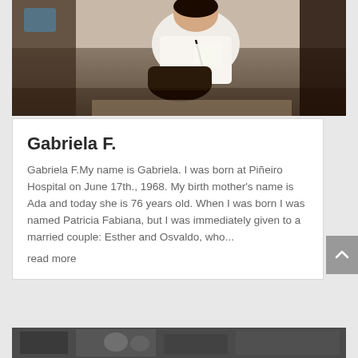[Figure (photo): A woman sitting on a couch reading, with a bag on her lap, indoor setting with warm lighting]
Gabriela F.
Gabriela F.My name is Gabriela. I was born at Piñeiro Hospital on June 17th., 1968. My birth mother's name is Ada and today she is 76 years old. When I was born I was named Patricia Fabiana, but I was immediately given to a married couple: Esther and Osvaldo, who...
read more
[Figure (photo): Partial black and white photograph visible at the bottom of the page]